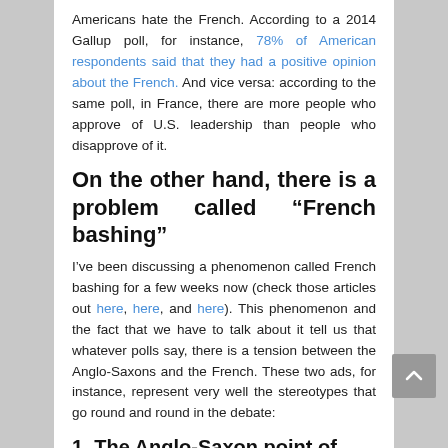Americans hate the French. According to a 2014 Gallup poll, for instance, 78% of American respondents said that they had a positive opinion about the French. And vice versa: according to the same poll, in France, there are more people who approve of U.S. leadership than people who disapprove of it.
On the other hand, there is a problem called “French bashing”
I’ve been discussing a phenomenon called French bashing for a few weeks now (check those articles out here, here, and here). This phenomenon and the fact that we have to talk about it tell us that whatever polls say, there is a tension between the Anglo-Saxons and the French. These two ads, for instance, represent very well the stereotypes that go round and round in the debate:
1. The Anglo-Saxon point of view…
[Figure (photo): Dark/black image block at the bottom of the page]